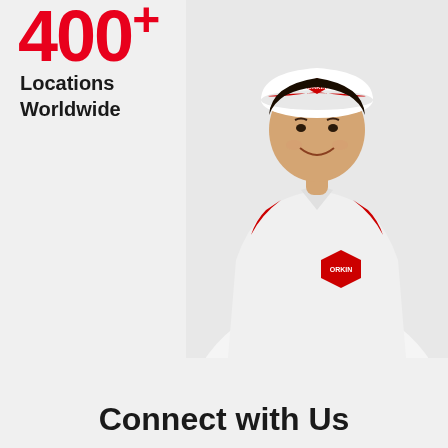400+
Locations
Worldwide
[Figure (photo): An Orkin pest control worker (woman) in white uniform with red Orkin logo patches and white hard hat with Orkin logo, arms crossed, smiling, against a light gray background]
Connect with Us